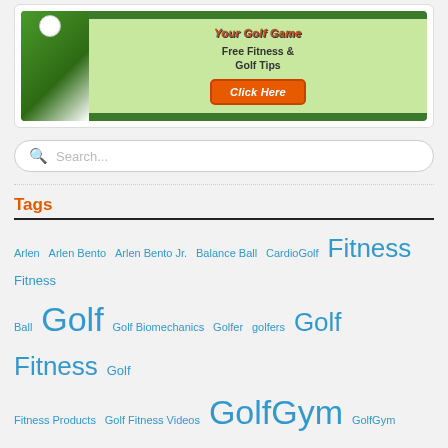[Figure (illustration): Golf fitness advertisement banner with green grass background, golf ball, orange headline text 'Your Golf Game', black text 'Free Fitness & Golf Tips', and orange 'Click Here' button]
Search...
Tags
Arlen Arlen Bento Arlen Bento Jr. Balance Ball CardioGolf Fitness Fitness Ball Golf Golf Biomechanics Golfer golfers Golf Fitness Golf Fitness Products Golf Fitness Videos GolfGym GolfGym PowerSwing Trainer GolfGym Shortee Club Golfing golf lessons Golf Specific Exercises Golf Strength Golf Stretching Golf Swing Golf Swing